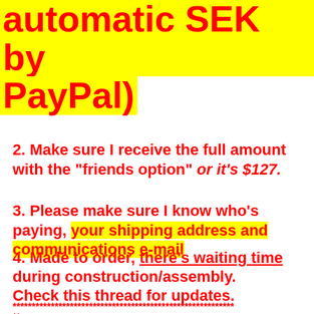automatic SEK by PayPal)
2. Make sure I receive the full amount with the "friends option" or it's $127.
3. Please make sure I know who's paying, your shipping address and communications e-mail
4. Made to order, there's waiting time during construction/assembly. Check this thread for updates.
****************************************************************************
**